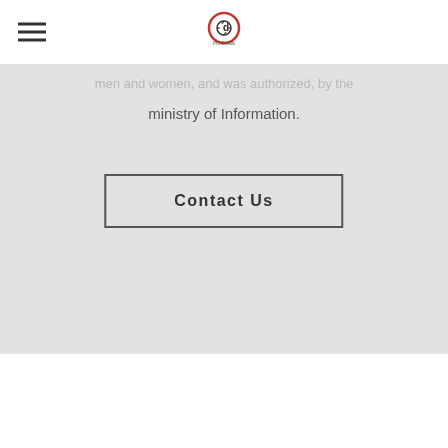[Figure (logo): Pro Details logo - circular camera aperture with letter d]
men and women, and was authorized, by the ministry of Information.
Contact Us
[Figure (logo): Pro Details footer logo - large red and dark circular camera aperture with letter d]
Copyright © 2017 Pro Details - Developed By Cloudcorner